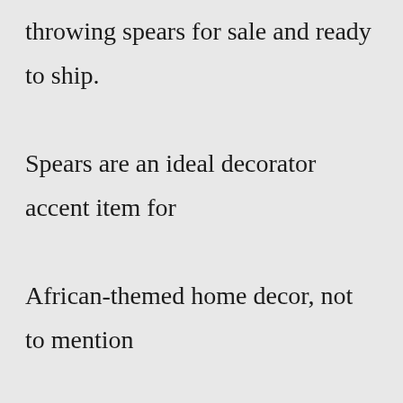throwing spears for sale and ready to ship. Spears are an ideal decorator accent item for African-themed home decor, not to mention great conversation pieces! ... Swordfish beaks and preserved fish heads on plaque mounts that make perfect novelty gifts for the fisherman in ...6929 Hampton Ave. Saint Louis, MO 63109. CLOSED NOW. From Business: Family owned awards business since 1886. Producing quality trophies,